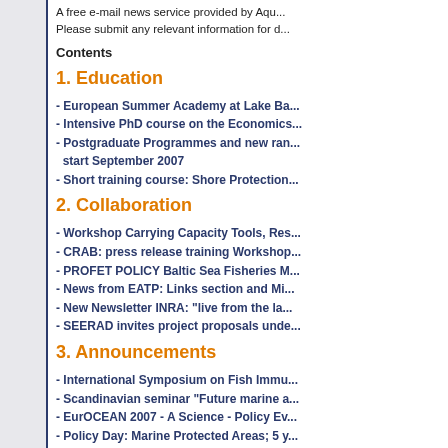A free e-mail news service provided by Aqu... Please submit any relevant information for d...
Contents
1. Education
- European Summer Academy at Lake Ba...
- Intensive PhD course on the Economics...
- Postgraduate Programmes and new ran... start September 2007
- Short training course: Shore Protection...
2. Collaboration
- Workshop Carrying Capacity Tools, Res...
- CRAB: press release training Workshop...
- PROFET POLICY Baltic Sea Fisheries M...
- News from EATP: Links section and Mi...
- New Newsletter INRA: "live from the la...
- SEERAD invites project proposals unde...
3. Announcements
- International Symposium on Fish Immu...
- Scandinavian seminar "Future marine a...
- EurOCEAN 2007 - A Science - Policy Ev...
- Policy Day: Marine Protected Areas; 5 y...
- Seminar on “Maritime Policies and Glob...